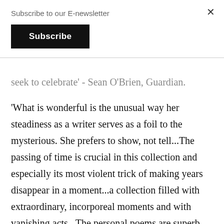Subscribe to our E-newsletter
Subscribe
seek to celebrate' - Sean O'Brien, Guardian.
'What is wonderful is the unusual way her steadiness as a writer serves as a foil to the mysterious. She prefers to show, not tell...The passing of time is crucial in this collection and especially its most violent trick of making years disappear in a moment...a collection filled with extraordinary, incorporeal moments and with vanishing acts...The personal poems are superb and anything but self-indulgent' – Kate Kellaway, The Observer.